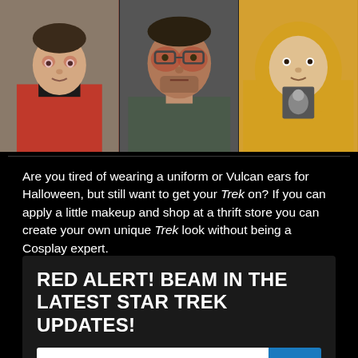[Figure (photo): Three side-by-side photos: left shows a person in a red Star Trek uniform costume, middle shows a man with reddened face close-up, right shows a person in a yellow hoodie.]
Are you tired of wearing a uniform or Vulcan ears for Halloween, but still want to get your Trek on? If you can apply a little makeup and shop at a thrift store you can create your own unique Trek look without being a Cosplay expert.
RED ALERT! BEAM IN THE LATEST STAR TREK UPDATES!